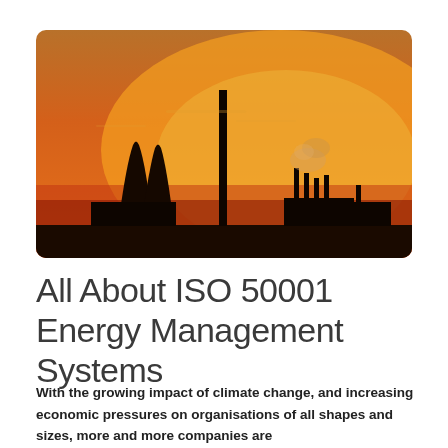[Figure (photo): Industrial silhouette at sunset showing cooling towers, a tall smokestack, and factory chimneys against an orange and red sky. Dark foreground with industrial structures in black silhouette.]
All About ISO 50001 Energy Management Systems
With the growing impact of climate change, and increasing economic pressures on organisations of all shapes and sizes, more and more companies are looking to manage and reduce their energy use...